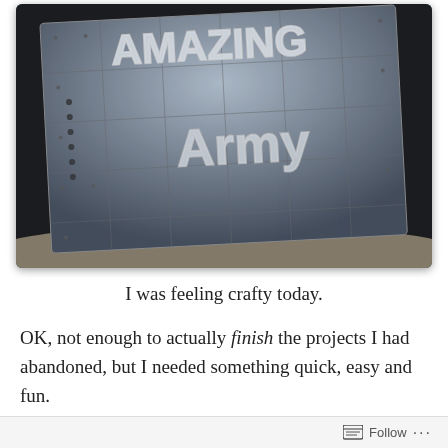[Figure (photo): A metallic-looking craft/art piece resembling a plaque or tile with riveted metal panels and raised 3D letters that appear to spell something (possibly 'Amazing' and 'Army'). The piece is displayed on a light surface against a dark background. The image is in black and white/grayscale.]
I was feeling crafty today.
OK, not enough to actually finish the projects I had abandoned, but I needed something quick, easy and fun.
A while back I had come across this post at Epbot which
Follow